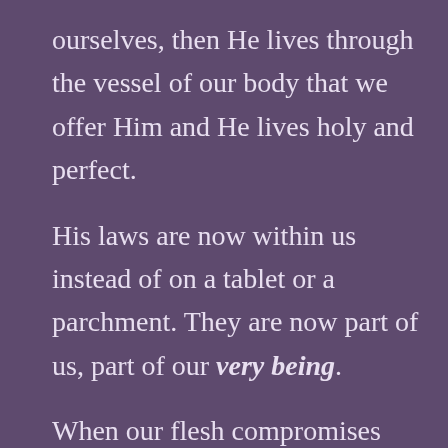ourselves, then He lives through the vessel of our body that we offer Him and He lives holy and perfect.

His laws are now within us instead of on a tablet or a parchment. They are now part of us, part of our very being.

When our flesh compromises His